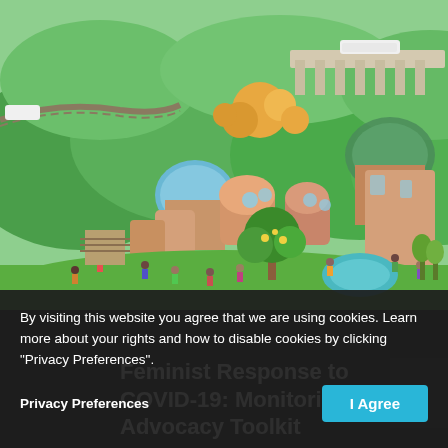[Figure (illustration): Colorful illustrated scene of a vibrant community with round organic buildings, people gathered outdoors, green hills, a train viaduct, trees, and a garden. Many people engaged in various activities in a utopian-looking town.]
By visiting this website you agree that we are using cookies. Learn more about your rights and how to disable cookies by clicking "Privacy Preferences".
Privacy Preferences
Feminist Response to COVID-19: Monitoring & Advocacy Toolkit